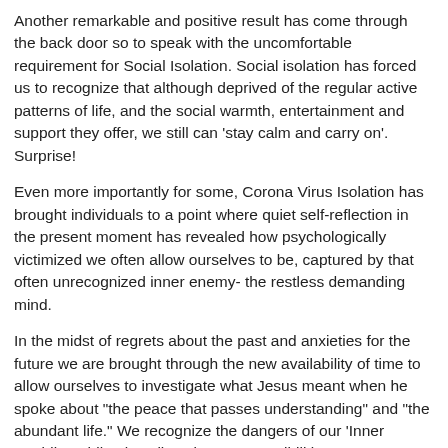Another remarkable and positive result has come through the back door so to speak with the uncomfortable requirement for Social Isolation. Social isolation has forced us to recognize that although deprived of the regular active patterns of life, and the social warmth, entertainment and support they offer, we still can 'stay calm and carry on'. Surprise!
Even more importantly for some, Corona Virus Isolation has brought individuals to a point where quiet self-reflection in the present moment has revealed how psychologically victimized we often allow ourselves to be, captured by that often unrecognized inner enemy- the restless demanding mind.
In the midst of regrets about the past and anxieties for the future we are brought through the new availability of time to allow ourselves to investigate what Jesus meant when he spoke about "the peace that passes understanding" and "the abundant life." We recognize the dangers of our 'Inner Covidity' while also glimpsing new possibilities.
Faith